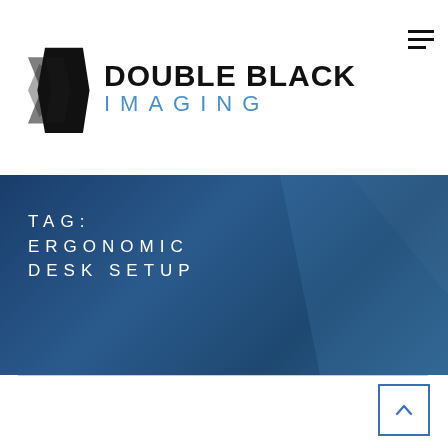[Figure (logo): Double Black Imaging logo with two overlapping diamond shapes in black and a gray shadow, with 'DOUBLE BLACK' in bold black text and 'IMAGING' in spaced blue text]
TAG:
ERGONOMIC
DESK SETUP